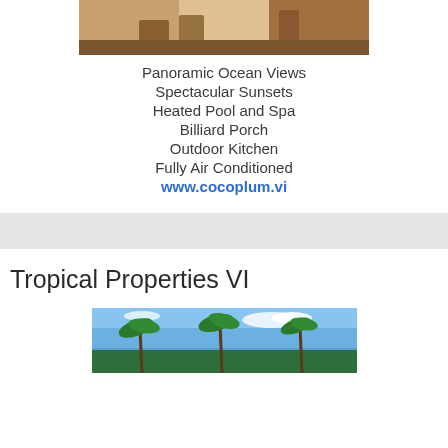[Figure (photo): Top portion of an interior/outdoor kitchen or deck area photo]
Panoramic Ocean Views
Spectacular Sunsets
Heated Pool and Spa
Billiard Porch
Outdoor Kitchen
Fully Air Conditioned
www.cocoplum.vi
Tropical Properties VI
[Figure (photo): Photo of palm trees against a blue sky with clouds]